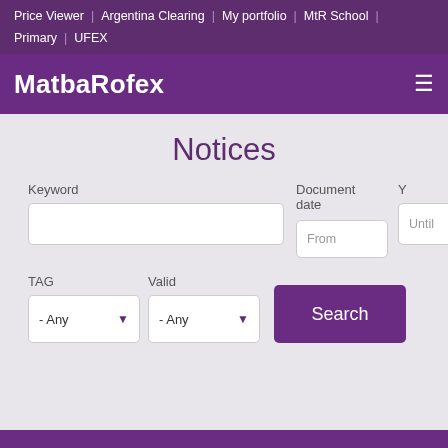Price Viewer | Argentina Clearing | My portfolio | MtR School |
Primary | UFEX
MatbaRofex
Notices
Keyword
Document date
Y
From
Until
TAG
Valid
- Any
- Any
Search